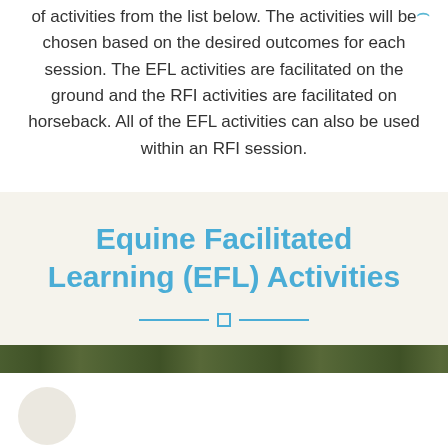of activities from the list below. The activities will be chosen based on the desired outcomes for each session. The EFL activities are facilitated on the ground and the RFI activities are facilitated on horseback. All of the EFL activities can also be used within an RFI session.
Equine Facilitated Learning (EFL) Activities
[Figure (photo): Partial photo strip showing outdoor/nature scene, green foliage visible]